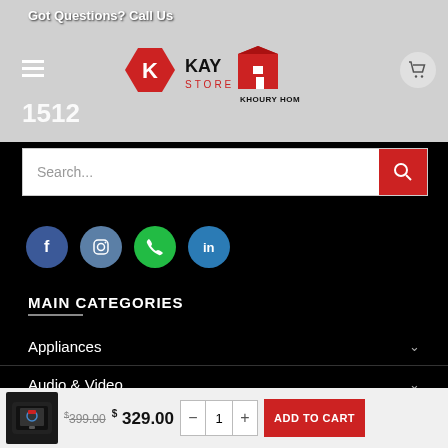Got Questions? Call Us
[Figure (logo): KAY Store and Khoury Home logos]
1512
[Figure (screenshot): Search bar with red search button]
[Figure (infographic): Social media icons: Facebook, Instagram, Phone, LinkedIn]
MAIN CATEGORIES
Appliances
Audio & Video
IT & Electronics
$399.00  $329.00
ADD TO CART
La maison